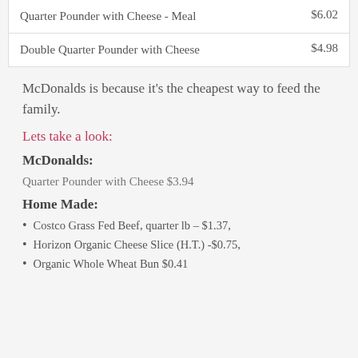| Item | Price |
| --- | --- |
| Quarter Pounder with Cheese - Meal | $6.02 |
| Double Quarter Pounder with Cheese | $4.98 |
McDonalds is because it's the cheapest way to feed the family.
Lets take a look:
McDonalds:
Quarter Pounder with Cheese $3.94
Home Made:
Costco Grass Fed Beef, quarter lb – $1.37,
Horizon Organic Cheese Slice (H.T.) -$0.75,
Organic Whole Wheat Bun $0.41